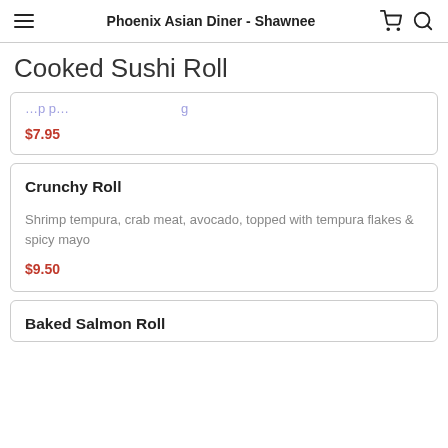Phoenix Asian Diner - Shawnee
Cooked Sushi Roll
$7.95
Crunchy Roll
Shrimp tempura, crab meat, avocado, topped with tempura flakes & spicy mayo
$9.50
Baked Salmon Roll